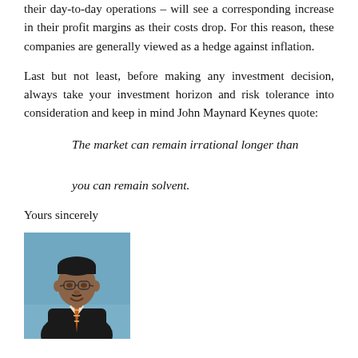their day-to-day operations – will see a corresponding increase in their profit margins as their costs drop. For this reason, these companies are generally viewed as a hedge against inflation.
Last but not least, before making any investment decision, always take your investment horizon and risk tolerance into consideration and keep in mind John Maynard Keynes quote:
The market can remain irrational longer than you can remain solvent.
Yours sincerely
[Figure (photo): Portrait photo of a man in a dark suit with a striped tie, smiling, against a blue background.]